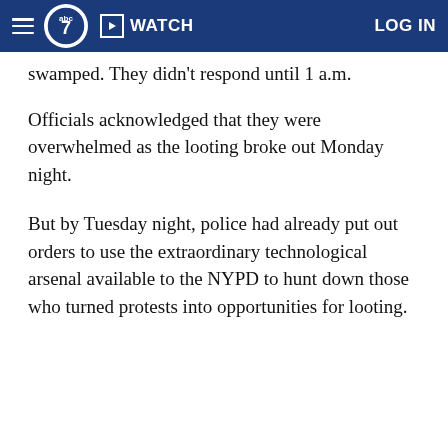abc7 WATCH LOG IN
swamped. They didn't respond until 1 a.m.
Officials acknowledged that they were overwhelmed as the looting broke out Monday night.
But by Tuesday night, police had already put out orders to use the extraordinary technological arsenal available to the NYPD to hunt down those who turned protests into opportunities for looting.